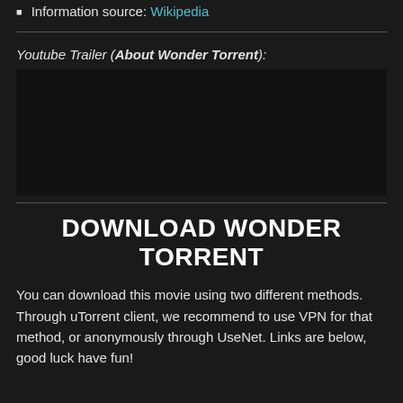Information source: Wikipedia
Youtube Trailer (About Wonder Torrent):
[Figure (other): Embedded YouTube video placeholder area (dark rectangle)]
DOWNLOAD WONDER TORRENT
You can download this movie using two different methods. Through uTorrent client, we recommend to use VPN for that method, or anonymously through UseNet. Links are below, good luck have fun!